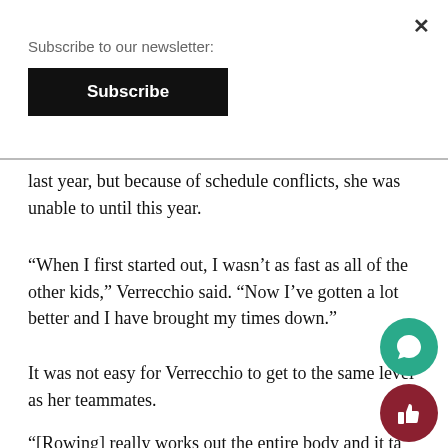Subscribe to our newsletter:
Subscribe
last year, but because of schedule conflicts, she was unable to until this year.
“When I first started out, I wasn’t as fast as all of the other kids,” Verrecchio said. “Now I’ve gotten a lot better and I have brought my times down.”
It was not easy for Verrecchio to get to the same level as her teammates.
“[Rowing] really works out the entire body and it ta… up a lot of time too,” said Verrecchio.
Verrecchio said that the best rowing advice that sh… received was from her coaches.